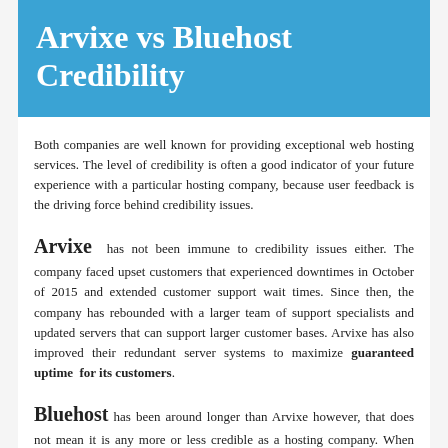Arvixe vs Bluehost Credibility
Both companies are well known for providing exceptional web hosting services. The level of credibility is often a good indicator of your future experience with a particular hosting company, because user feedback is the driving force behind credibility issues.
Arvixe has not been immune to credibility issues either. The company faced upset customers that experienced downtimes in October of 2015 and extended customer support wait times. Since then, the company has rebounded with a larger team of support specialists and updated servers that can support larger customer bases. Arvixe has also improved their redundant server systems to maximize guaranteed uptime for its customers.
Bluehost has been around longer than Arvixe however, that does not mean it is any more or less credible as a hosting company. When analyzed separately, Bluehost is currently experiencing issues with customers purchasing web hosting packages without knowing that they had to pay for the entire term of the package upfront. Bluehost